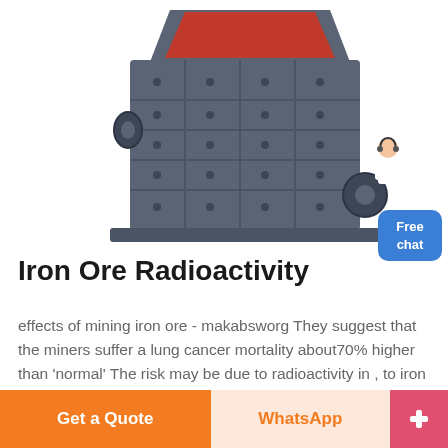[Figure (photo): Industrial iron ore impact crusher machine, dark grey/blue color with red accent on top opening, square body with bolt studs, on a white background. Small customer service representative figure on right side.]
Iron Ore Radioactivity
effects of mining iron ore - makabsworg They suggest that the miners suffer a lung cancer mortality about70% higher than 'normal' The risk may be due to radioactivity in , to iron ore mining in.